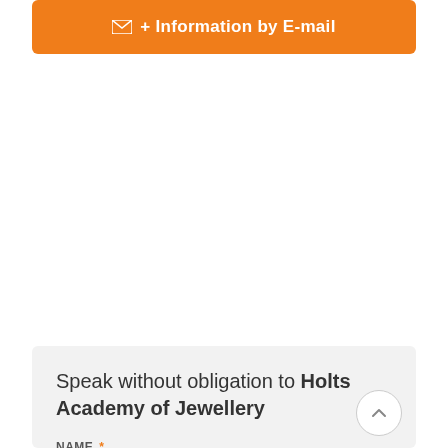[Figure (screenshot): Orange button with envelope icon and text '+ Information by E-mail']
Speak without obligation to Holts Academy of Jewellery
NAME *